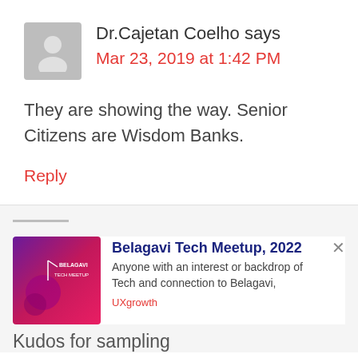[Figure (illustration): Gray avatar/profile placeholder icon in a rounded square]
Dr.Cajetan Coelho says
Mar 23, 2019 at 1:42 PM
They are showing the way. Senior Citizens are Wisdom Banks.
Reply
[Figure (photo): Belagavi Tech Meetup 2022 promotional image with purple/pink gradient and event text]
Belagavi Tech Meetup, 2022
Anyone with an interest or backdrop of Tech and connection to Belagavi,
UXgrowth
Kudos for sampling